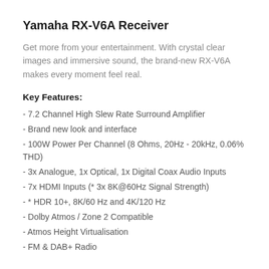Yamaha RX-V6A Receiver
Get more from your entertainment. With crystal clear images and immersive sound, the brand-new RX-V6A makes every moment feel real.
Key Features:
- 7.2 Channel High Slew Rate Surround Amplifier
- Brand new look and interface
- 100W Power Per Channel (8 Ohms, 20Hz - 20kHz, 0.06% THD)
- 3x Analogue, 1x Optical, 1x Digital Coax Audio Inputs
- 7x HDMI Inputs (* 3x 8K@60Hz Signal Strength)
- * HDR 10+, 8K/60 Hz and 4K/120 Hz
- Dolby Atmos / Zone 2 Compatible
- Atmos Height Virtualisation
- FM & DAB+ Radio